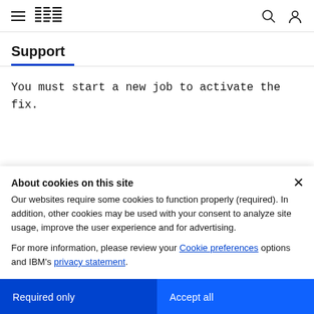IBM Support
Support
You must start a new job to activate the fix.
About cookies on this site
Our websites require some cookies to function properly (required). In addition, other cookies may be used with your consent to analyze site usage, improve the user experience and for advertising.

For more information, please review your Cookie preferences options and IBM's privacy statement.